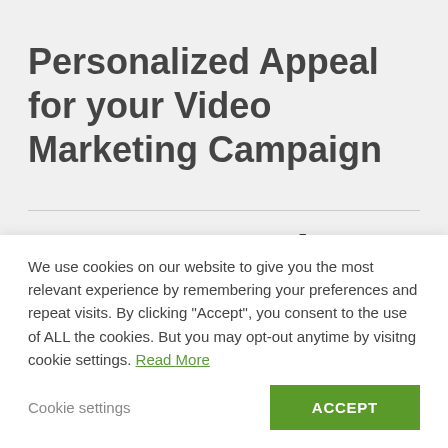Personalized Appeal for your Video Marketing Campaign
Are you ready to take advantage of
We use cookies on our website to give you the most relevant experience by remembering your preferences and repeat visits. By clicking “Accept”, you consent to the use of ALL the cookies. But you may opt-out anytime by visitng cookie settings. Read More
Cookie settings
ACCEPT